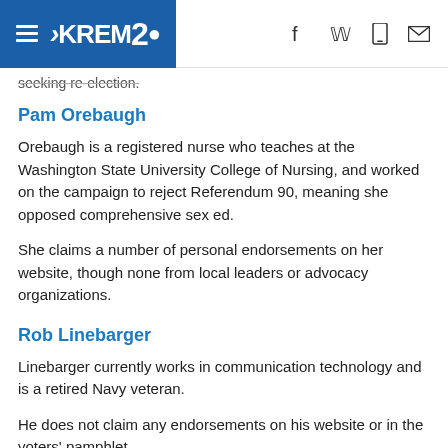KREM2 navigation header with hamburger menu, logo, and social icons
seeking re-election.
Pam Orebaugh
Orebaugh is a registered nurse who teaches at the Washington State University College of Nursing, and worked on the campaign to reject Referendum 90, meaning she opposed comprehensive sex ed.
She claims a number of personal endorsements on her website, though none from local leaders or advocacy organizations.
Rob Linebarger
Linebarger currently works in communication technology and is a retired Navy veteran.
He does not claim any endorsements on his website or in the voters' pamphlet.